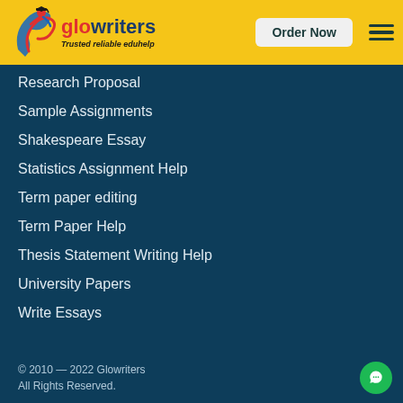glowriters — Trusted reliable eduhelp | Order Now
Research Proposal
Sample Assignments
Shakespeare Essay
Statistics Assignment Help
Term paper editing
Term Paper Help
Thesis Statement Writing Help
University Papers
Write Essays
© 2010 — 2022 Glowriters All Rights Reserved.